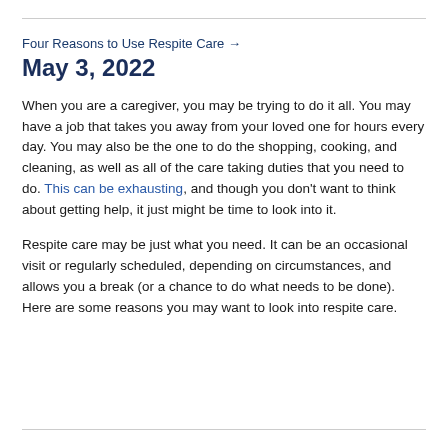Four Reasons to Use Respite Care →
May 3, 2022
When you are a caregiver, you may be trying to do it all. You may have a job that takes you away from your loved one for hours every day. You may also be the one to do the shopping, cooking, and cleaning, as well as all of the care taking duties that you need to do. This can be exhausting, and though you don't want to think about getting help, it just might be time to look into it.
Respite care may be just what you need. It can be an occasional visit or regularly scheduled, depending on circumstances, and allows you a break (or a chance to do what needs to be done). Here are some reasons you may want to look into respite care.